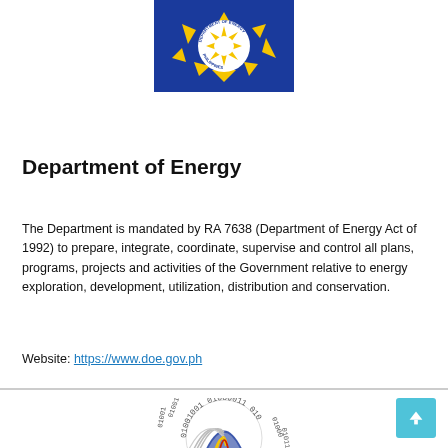[Figure (logo): Department of Energy Philippines logo — blue background with yellow sun/pentagon design and white circular text reading DEPARTMENT OF ENERGY PHILIPPINES]
Department of Energy
The Department is mandated by RA 7638 (Department of Energy Act of 1992) to prepare, integrate, coordinate, supervise and control all plans, programs, projects and activities of the Government relative to energy exploration, development, utilization, distribution and conservation.
Website: https://www.doe.gov.ph
[Figure (logo): Circular logo with binary digits (01001001 01000011 etc.) arranged in a ring around a fingerprint/data visualization graphic in blue, gold, and red on white background]